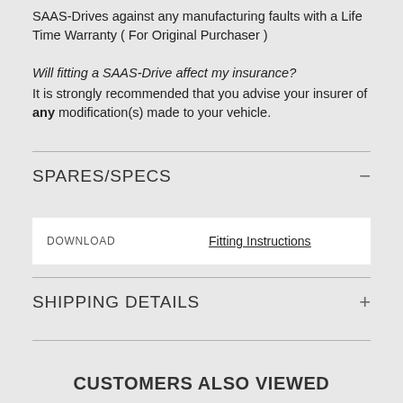SAAS-Drives against any manufacturing faults with a Life Time Warranty ( For Original Purchaser )

Will fitting a SAAS-Drive affect my insurance?
It is strongly recommended that you advise your insurer of any modification(s) made to your vehicle.
SPARES/SPECS
| DOWNLOAD |  |
| --- | --- |
| DOWNLOAD | Fitting Instructions |
SHIPPING DETAILS
CUSTOMERS ALSO VIEWED